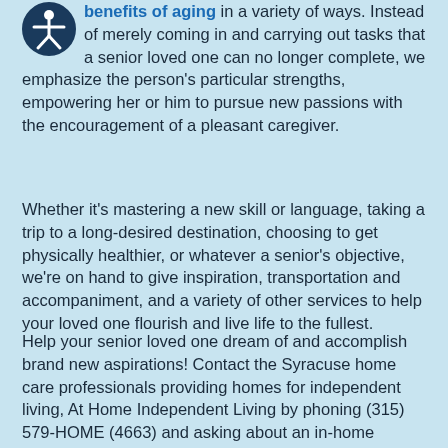benefits of aging in a variety of ways. Instead of merely coming in and carrying out tasks that a senior loved one can no longer complete, we emphasize the person's particular strengths, empowering her or him to pursue new passions with the encouragement of a pleasant caregiver.
[Figure (logo): Accessibility icon — white stick figure with arms outstretched inside a dark navy circle]
Whether it's mastering a new skill or language, taking a trip to a long-desired destination, choosing to get physically healthier, or whatever a senior's objective, we're on hand to give inspiration, transportation and accompaniment, and a variety of other services to help your loved one flourish and live life to the fullest.
Help your senior loved one dream of and accomplish brand new aspirations! Contact the Syracuse home care professionals providing homes for independent living, At Home Independent Living by phoning (315) 579-HOME (4663) and asking about an in-home assessment.